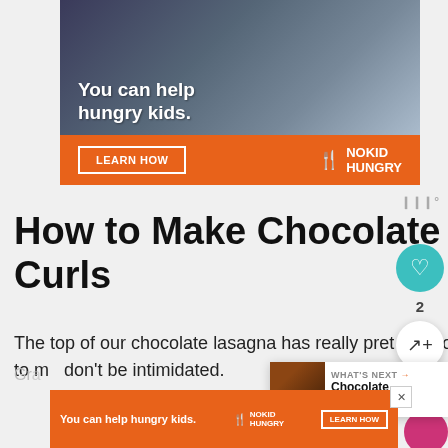[Figure (infographic): Advertisement banner: 'You can help hungry kids.' with LEARN HOW button and No Kid Hungry logo on orange background with photo of child]
[Figure (screenshot): Wibbitz badge top right]
How to Make Chocolate Curls
The top of our chocolate lasagna has really pretty chocolate curls. They're really easy to make, don't be intimidated.
[Figure (screenshot): Social sidebar with heart button (count: 2) and share button]
[Figure (screenshot): What's Next popup: Chocolate Lasagna...]
[Figure (infographic): Bottom advertisement: You can help hungry kids. No Kid Hungry. LEARN HOW]